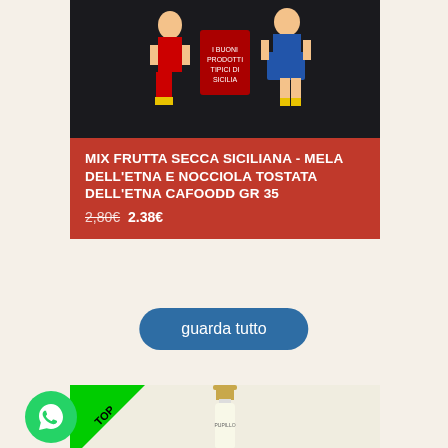[Figure (photo): Product image of Sicilian dried fruit mix package with traditional Sicilian figures on dark background]
MIX FRUTTA SECCA SICILIANA - MELA DELL'ETNA E NOCCIOLA TOSTATA DELL'ETNA CAFOODD GR 35
2,80€ 2.38€
guarda tutto
[Figure (photo): White wine bottle with gold cap and Pupillo label, with TOP badge in green corner]